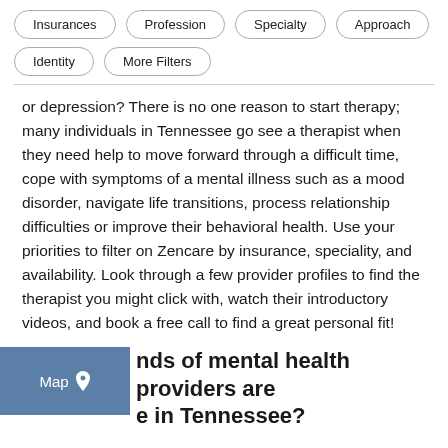Insurances
Profession
Specialty
Approach
Identity
More Filters
or depression? There is no one reason to start therapy; many individuals in Tennessee go see a therapist when they need help to move forward through a difficult time, cope with symptoms of a mental illness such as a mood disorder, navigate life transitions, process relationship difficulties or improve their behavioral health. Use your priorities to filter on Zencare by insurance, speciality, and availability. Look through a few provider profiles to find the therapist you might click with, watch their introductory videos, and book a free call to find a great personal fit!
nds of mental health providers are e in Tennessee?